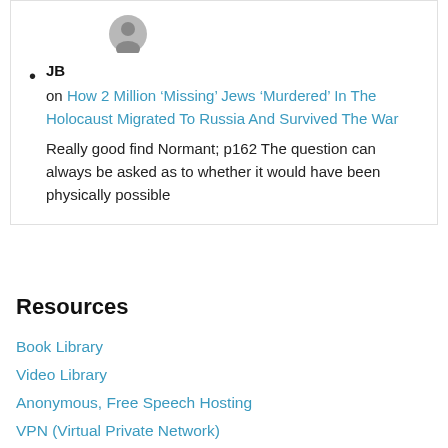[Figure (illustration): Gray user avatar silhouette icon]
JB on How 2 Million ‘Missing’ Jews ‘Murdered’ In The Holocaust Migrated To Russia And Survived The War — Really good find Normant; p162 The question can always be asked as to whether it would have been physically possible
Resources
Book Library
Video Library
Anonymous, Free Speech Hosting
VPN (Virtual Private Network)